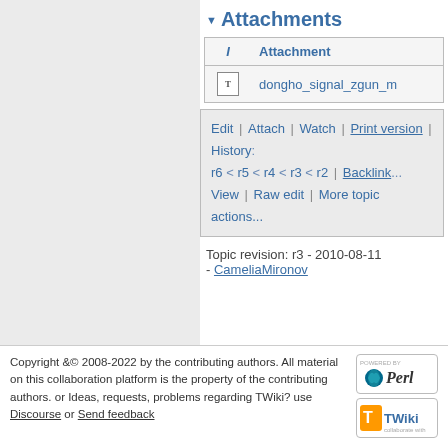▼ Attachments
| I | Attachment |
| --- | --- |
| [T] | dongho_signal_zgun_m... |
Edit | Attach | Watch | Print version | History: r6 < r5 < r4 < r3 < r2 | Backlink... View | Raw edit | More topic actions...
Topic revision: r3 - 2010-08-11 - CameliaMironov
Copyright &© 2008-2022 by the contributing authors. All material on this collaboration platform is the property of the contributing authors. or Ideas, requests, problems regarding TWiki? use Discourse or Send feedback